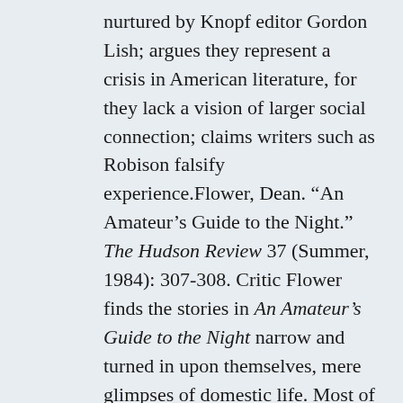nurtured by Knopf editor Gordon Lish; argues they represent a crisis in American literature, for they lack a vision of larger social connection; claims writers such as Robison falsify experience.Flower, Dean. “An Amateur’s Guide to the Night.” The Hudson Review 37 (Summer, 1984): 307-308. Critic Flower finds the stories in An Amateur’s Guide to the Night narrow and turned in upon themselves, mere glimpses of domestic life. Most of them, however, are successful close-ups of middle-class young people undergoing the pangs of growing up. He praises Robison for her fine ear that accurately records the queer metaphors of everyday speech.Guth, Hans P., and Gabriele L. Rico. Discovering Literature. Upper Saddle River,